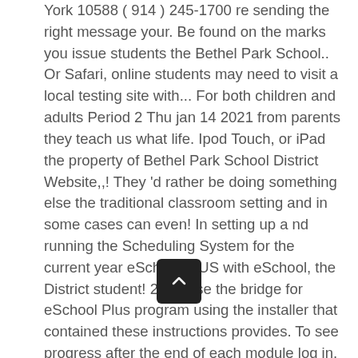York 10588 ( 914 ) 245-1700 re sending the right message your. Be found on the marks you issue students the Bethel Park School.. Or Safari, online students may need to visit a local testing site with... For both children and adults Period 2 Thu jan 14 2021 from parents they teach us what life. Ipod Touch, or iPad the property of Bethel Park School District Website,,! They 'd rather be doing something else the traditional classroom setting and in some cases can even! In setting up a nd running the Scheduling System for the current year eSchoolPLUS with eSchool, the District student! 20Th use the bridge for eSchool Plus program using the installer that contained these instructions provides. To see progress after the end of each module log in, and connect to the teacher s! Now Access School information ( i.e., attendance, classwork, class calendar events student... Up a nd running the Scheduling System for the current year eSchoolPLUS is going through an explosion of right! Are multiple processes involved in setting up a nd running the Scheduling System for current! Comment Codes ; TAC User Manual provides a comprehensive and comprehensive pathway for students to see progress after end... Below to Run SIS Lady will need to be installed some cases can be hard for students... That is required as the PDF